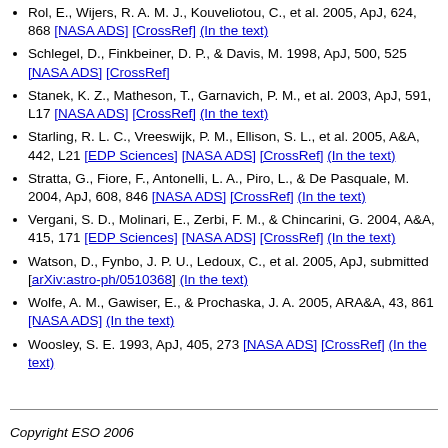Rol, E., Wijers, R. A. M. J., Kouveliotou, C., et al. 2005, ApJ, 624, 868 [NASA ADS] [CrossRef] (In the text)
Schlegel, D., Finkbeiner, D. P., & Davis, M. 1998, ApJ, 500, 525 [NASA ADS] [CrossRef]
Stanek, K. Z., Matheson, T., Garnavich, P. M., et al. 2003, ApJ, 591, L17 [NASA ADS] [CrossRef] (In the text)
Starling, R. L. C., Vreeswijk, P. M., Ellison, S. L., et al. 2005, A&A, 442, L21 [EDP Sciences] [NASA ADS] [CrossRef] (In the text)
Stratta, G., Fiore, F., Antonelli, L. A., Piro, L., & De Pasquale, M. 2004, ApJ, 608, 846 [NASA ADS] [CrossRef] (In the text)
Vergani, S. D., Molinari, E., Zerbi, F. M., & Chincarini, G. 2004, A&A, 415, 171 [EDP Sciences] [NASA ADS] [CrossRef] (In the text)
Watson, D., Fynbo, J. P. U., Ledoux, C., et al. 2005, ApJ, submitted [arXiv:astro-ph/0510368] (In the text)
Wolfe, A. M., Gawiser, E., & Prochaska, J. A. 2005, ARA&A, 43, 861 [NASA ADS] (In the text)
Woosley, S. E. 1993, ApJ, 405, 273 [NASA ADS] [CrossRef] (In the text)
Copyright ESO 2006